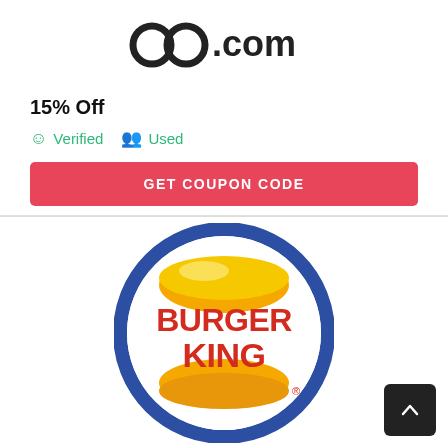[Figure (logo): Partial coupon website logo showing stylized text ending in '.com' or similar]
15% Off
✓ Verified   👥 Used
GET COUPON CODE
[Figure (logo): Burger King logo — circular design with blue ring, yellow bun top and bottom, red text reading BURGER KING in the center]